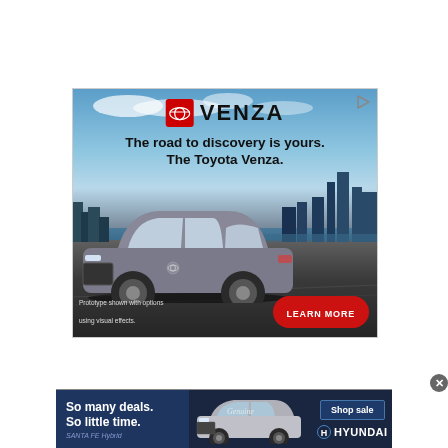[Figure (illustration): Toyota Venza advertisement showing a silver Toyota Venza SUV parked on a dark surface with a city skyline and blue sky in the background. The ad features the Toyota logo in a red square, 'VENZA' text, the tagline 'The road to discovery is yours. The Toyota Venza.', a 'LEARN MORE' button in red, and a small disclaimer text 'Prototype shown with options using visual effects.']
[Figure (illustration): Hyundai advertisement banner showing a Hyundai Santa Fe Hybrid SUV with text 'So many deals. So little time.' and 'SANTA FE Hybrid', a 'Shop sale' button, and the Hyundai logo.]